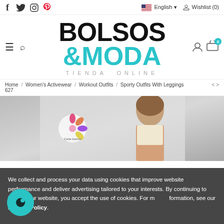f  Twitter  Instagram  Pinterest   English  Wishlist (0)
[Figure (logo): Bolsos & Moda Tienda Online logo — BOLSOS in large black bold text, &MODA in large teal bold text, TIENDA ONLINE in grey spaced caps below]
Home / Women's Activewear / Workout Outfits / Sporty Outfits With Leggings 627
[Figure (photo): Woman wearing sporty outfit with leggings, standing in a bright interior space, with a floral logo watermark in top-left corner]
We collect and process your data using cookies that improve website performance and deliver advertising tailored to your interests. By continuing to browse our website, you accept the use of cookies. For more information, see our Privacy Policy.